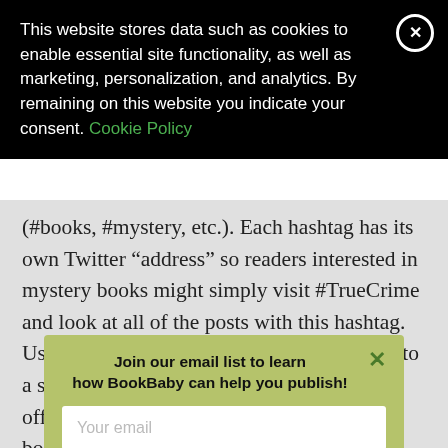This website stores data such as cookies to enable essential site functionality, as well as marketing, personalization, and analytics. By remaining on this website you indicate your consent. Cookie Policy
(#books, #mystery, etc.). Each hashtag has its own Twitter "address" so readers interested in mystery books might simply visit #TrueCrime and look at all of the posts with this hashtag. Using multiple relevant hashtags is one key to a successful Twitter presence. If you're offering a Kindle deal for your book, be sure to add the hashtag #kindledeals, as many...
Here are some popular hashtags:
#crim...
#myst...
#Cozy...
#over...
[Figure (other): Email signup popup modal with olive/yellow-green background. Title: 'Join our email list to learn how BookBaby can help you publish!' with a close X button. Contains an email input field with placeholder 'Your email' and a teal 'Sign Me Up' button.]